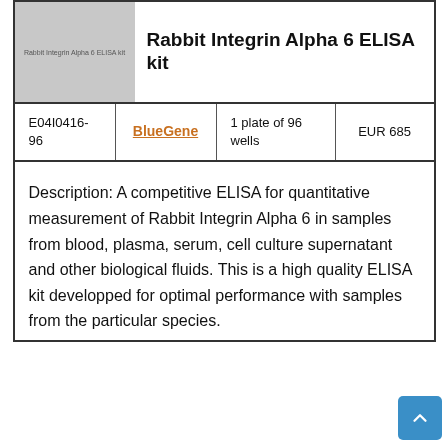[Figure (photo): Product image placeholder for Rabbit Integrin Alpha 6 ELISA kit, gray rectangle with small text label]
Rabbit Integrin Alpha 6 ELISA kit
| Code | Brand | Quantity | Price |
| --- | --- | --- | --- |
| E04I0416-96 | BlueGene | 1 plate of 96 wells | EUR 685 |
Description: A competitive ELISA for quantitative measurement of Rabbit Integrin Alpha 6 in samples from blood, plasma, serum, cell culture supernatant and other biological fluids. This is a high quality ELISA kit developped for optimal performance with samples from the particular species.